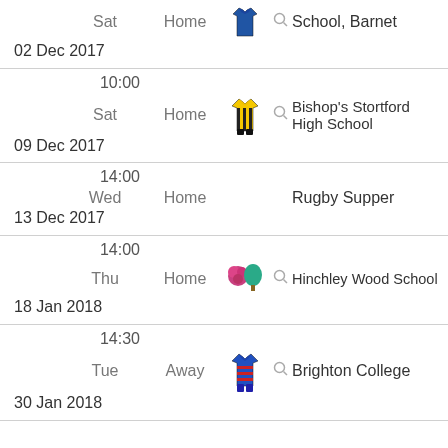Sat 02 Dec 2017 Home School, Barnet
10:00 Sat 09 Dec 2017 Home Bishop's Stortford High School
14:00 Wed 13 Dec 2017 Home Rugby Supper
14:00 Thu 18 Jan 2018 Home Hinchley Wood School
14:30 Tue 30 Jan 2018 Away Brighton College